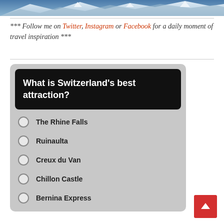[Figure (photo): Mountain landscape with snow-capped peaks, blue sky and rugged terrain visible at the top of the page.]
*** Follow me on Twitter, Instagram or Facebook for a daily moment of travel inspiration ***
[Figure (infographic): Poll widget with dark header asking 'What is Switzerland's best attraction?' with radio button options: The Rhine Falls, Ruinaulta, Creux du Van, Chillon Castle, Bernina Express]
The Rhine Falls
Ruinaulta
Creux du Van
Chillon Castle
Bernina Express